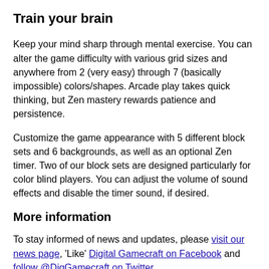Train your brain
Keep your mind sharp through mental exercise. You can alter the game difficulty with various grid sizes and anywhere from 2 (very easy) through 7 (basically impossible) colors/shapes. Arcade play takes quick thinking, but Zen mastery rewards patience and persistence.
Customize the game appearance with 5 different block sets and 6 backgrounds, as well as an optional Zen timer. Two of our block sets are designed particularly for color blind players. You can adjust the volume of sound effects and disable the timer sound, if desired.
More information
To stay informed of news and updates, please visit our news page, 'Like' Digital Gamecraft on Facebook and follow @DigGamecraft on Twitter.